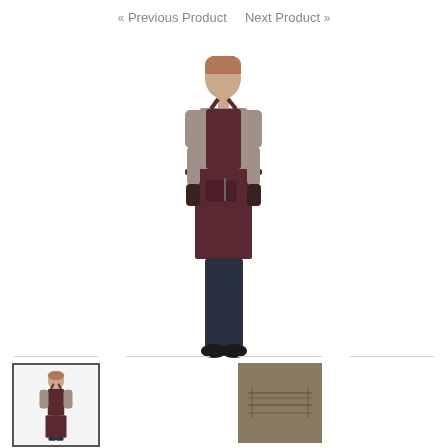« Previous Product    Next Product »
[Figure (photo): Person wearing a dark brown/burgundy apron over a grey shirt, standing against a white background. Full body shot.]
[Figure (photo): Thumbnail of same person wearing the brown apron, bordered with dark frame.]
[Figure (photo): Thumbnail of a dark textured leather or fabric material close-up.]